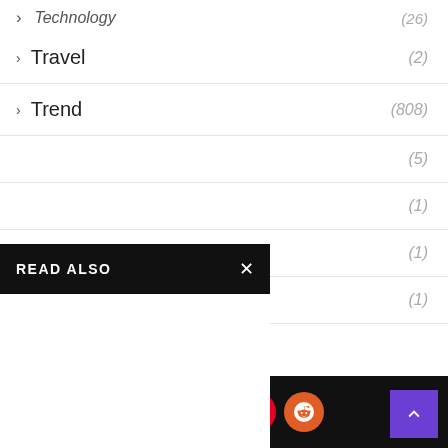Technology (26)
Travel (2)
Trend (808)
(5)
(1)
(1)
(1)
READ ALSO
[Figure (screenshot): Bottom navigation bar with Pinterest (red circle), Reddit (orange circle) social share buttons, and a purple back-to-top arrow button]